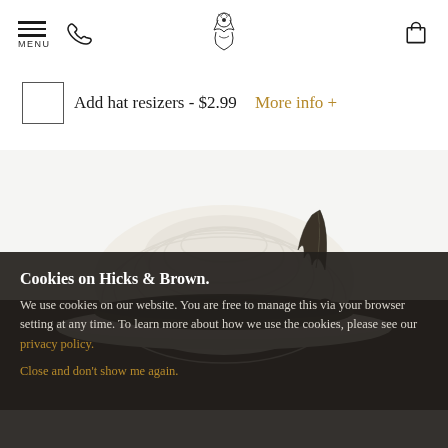MENU | phone icon | Hicks & Brown logo | cart icon
Add hat resizers - $2.99  More info +
[Figure (photo): White straw panama hat with dark feather decoration and black hatband, displayed against a dark background]
Cookies on Hicks & Brown.
We use cookies on our website. You are free to manage this via your browser setting at any time. To learn more about how we use the cookies, please see our privacy policy.
Close and don't show me again.